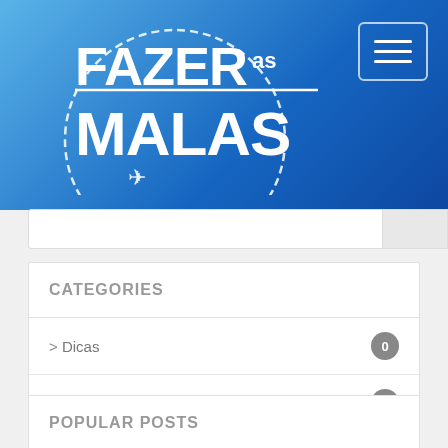[Figure (logo): Fazer as Malas travel blog logo with dashed circle border and airplane icon on a blue gradient header background]
CATEGORIES
> Dicas  0
> Viagens  1
POPULAR POSTS